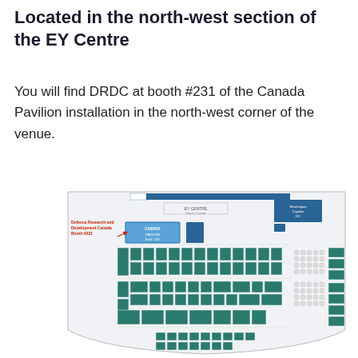Located in the north-west section of the EY Centre
You will find DRDC at booth #231 of the Canada Pavilion installation in the north-west corner of the venue.
[Figure (map): Floor plan / venue map of the EY Centre showing booth layout. A red label and arrow indicate 'Defence Research and Development Canada Booth #231' highlighted in blue in the north-west section of the Canada Pavilion. The map shows numerous teal/dark-cyan booths arranged in rows, with seating areas on the right side and additional booth sections at the bottom.]